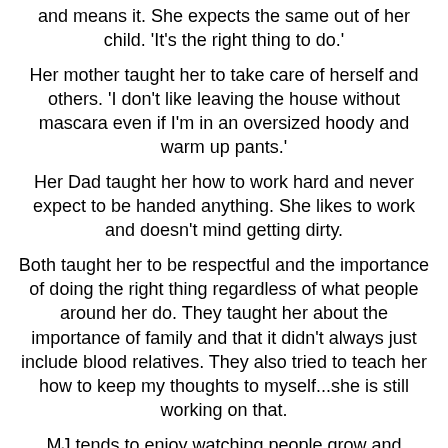and means it. She expects the same out of her child. 'It's the right thing to do.'
Her mother taught her to take care of herself and others. 'I don't like leaving the house without mascara even if I'm in an oversized hoody and warm up pants.'
Her Dad taught her how to work hard and never expect to be handed anything. She likes to work and doesn't mind getting dirty.
Both taught her to be respectful and the importance of doing the right thing regardless of what people around her do. They taught her about the importance of family and that it didn't always just include blood relatives. They also tried to teach her how to keep my thoughts to myself...she is still working on that.
MJ tends to enjoy watching people grow and change with self realization and moments of clarity that just sneak up behind you and smack you in the head.
She loves people and has always been able to see both sides of a story. 'Each person that comes into our life leaves us with something it is what we choose to do with it that helps us grow.'
She lives in central New York in the middle of nowhere and is surrounded by family and friend most the time. She ran a